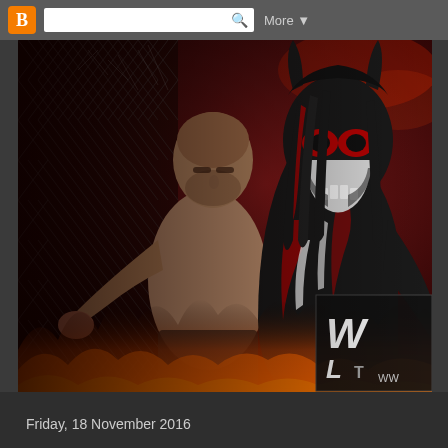[Figure (screenshot): Blogger navigation bar with orange B logo, search box, and More dropdown]
[Figure (photo): WWE promotional image showing two wrestlers — a bald muscular man gripping a chain-link fence and a masked figure in black and red demon costume — with fire at the bottom, steel cage backdrop, and a WWE logo box in the lower right corner]
Friday, 18 November 2016